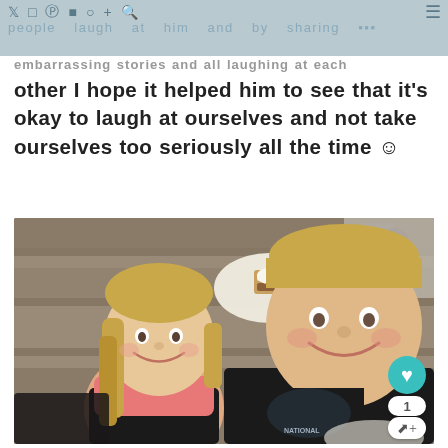people laugh at him and by sharing embarrassing stories and all laughing at each other
embarrassing stories and all laughing at each other I hope it helped him to see that it's okay to laugh at ourselves and not take ourselves too seriously all the time ☺
[Figure (photo): Two young children — a girl with long blonde hair wearing a pink top, and a boy with short blonde hair wearing a black t-shirt — smiling at the camera while sitting at a wooden table outdoors. A paper plate with a s'more is visible between them.]